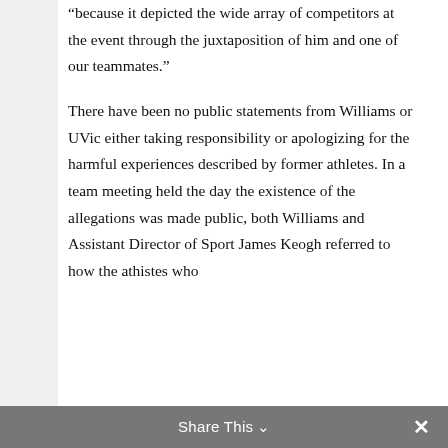“because it depicted the wide array of competitors at the event through the juxtaposition of him and one of our teammates.”
There have been no public statements from Williams or UVic either taking responsibility or apologizing for the harmful experiences described by former athletes. In a team meeting held the day the existence of the allegations was made public, both Williams and Assistant Director of Sport James Keogh referred to how the athistes who
Share This ✕